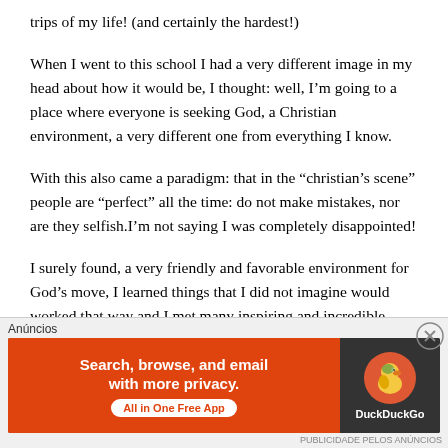trips of my life! (and certainly the hardest!)
When I went to this school I had a very different image in my head about how it would be, I thought: well, I’m going to a place where everyone is seeking God, a Christian environment, a very different one from everything I know.
With this also came a paradigm: that in the “christian’s scene” people are “perfect” all the time: do not make mistakes, nor are they selfish.I’m not saying I was completely disappointed!
I surely found, a very friendly and favorable environment for God’s move, I learned things that I did not imagine would worked that way and I met many inspiring and incredible people.
[Figure (screenshot): Advertisement banner for DuckDuckGo app with orange background, text 'Search, browse, and email with more privacy. All in One Free App' and DuckDuckGo logo on dark right panel. Labeled 'Anúncios' at top.]